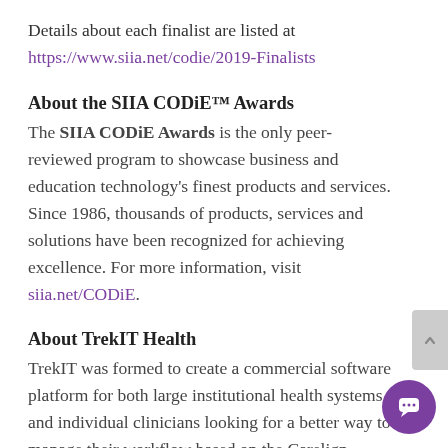Details about each finalist are listed at https://www.siia.net/codie/2019-Finalists
About the SIIA CODiE™ Awards
The SIIA CODiE Awards is the only peer-reviewed program to showcase business and education technology's finest products and services. Since 1986, thousands of products, services and solutions have been recognized for achieving excellence. For more information, visit siia.net/CODiE.
About TrekIT Health
TrekIT was formed to create a commercial software platform for both large institutional health systems and individual clinicians looking for a better way to manage their workflow based on the Carelign technology platform developed by Subha Airan-Javia